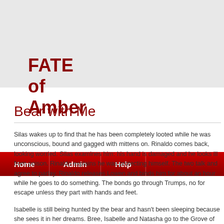FATE of Amber
Bear with Me
Silas wakes up to find that he has been completely looted while he was unconscious, bound and gagged with mittens on. Rinaldo comes back, looking worried. Silas examines him: his hand is damaged and he looks ill from poison. Rinaldo explains he was protecting himself. The two talk and agree to parlay. Rinaldo releases Lowen and binds him for about an hour while he goes to do something. The bonds go through Trumps, no escape unless they part with hands and feet.
Isabelle is still being hunted by the bear and hasn't been sleeping because she sees it in her dreams. Bree, Isabelle and Natasha go to the Grove of the Unicorn to seek her help. Gerhardt researches in Erewhon, but doesn't find anything that the epic bear is chasing Isabelle. Bleys mentions a mythical destroyer, but didn't really think that was real. Jericho hunts the bear through shadow.
Rinaldo comes back to find Lowen feeling very bad. He says, "Ok, you're hurt, is there anything you want me to know?" Lowen says he should turn himself in to save him to find him after this is over — they can be allies. Rinaldo puts a starfield and the two fade out. They wake up later in a hospital. Lowen is hooked up to a bunch of wires. They have scars but don't remember anything. They trump Isabelle for a